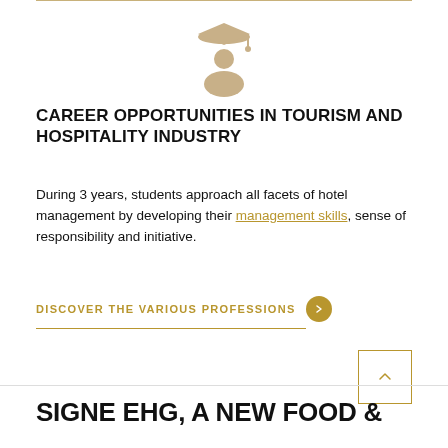[Figure (illustration): Gold/tan colored graduation cap and person (student) icon centered on page]
CAREER OPPORTUNITIES IN TOURISM AND HOSPITALITY INDUSTRY
During 3 years, students approach all facets of hotel management by developing their management skills, sense of responsibility and initiative.
DISCOVER THE VARIOUS PROFESSIONS
SIGNE EHG, A NEW FOOD &